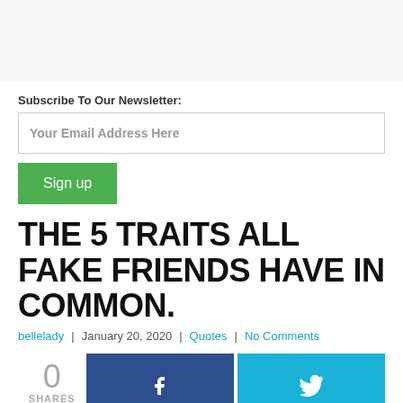[Figure (other): Advertisement placeholder area at top of page]
Subscribe To Our Newsletter:
Your Email Address Here
Sign up
THE 5 TRAITS ALL FAKE FRIENDS HAVE IN COMMON.
bellelady | January 20, 2020 | Quotes | No Comments
0 SHARES
[ad 1]